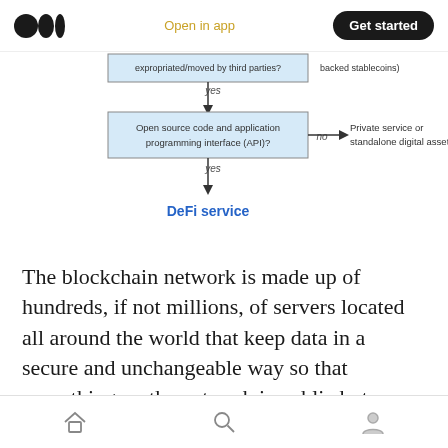Medium logo | Open in app | Get started
[Figure (flowchart): Partial flowchart showing decision nodes: 'expropriated/moved by third parties?' with yes arrow down to 'Open source code and application programming interface (API)?', no arrow right to 'Private service or standalone digital asset'; then yes arrow down to 'DeFi service' in blue bold. Also shows partial top node with 'backed stablecoins)'.]
The blockchain network is made up of hundreds, if not millions, of servers located all around the world that keep data in a secure and unchangeable way so that everything on the network is public but extremely safe.
Home | Search | Profile